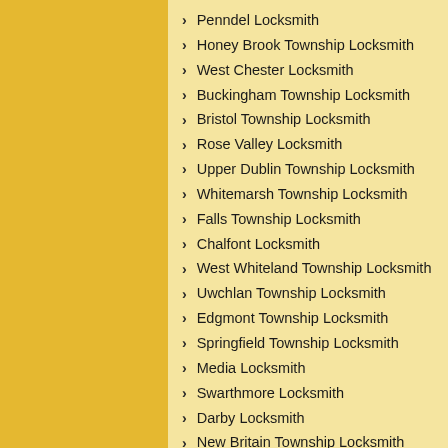Penndel Locksmith
Honey Brook Township Locksmith
West Chester Locksmith
Buckingham Township Locksmith
Bristol Township Locksmith
Rose Valley Locksmith
Upper Dublin Township Locksmith
Whitemarsh Township Locksmith
Falls Township Locksmith
Chalfont Locksmith
West Whiteland Township Locksmith
Uwchlan Township Locksmith
Edgmont Township Locksmith
Springfield Township Locksmith
Media Locksmith
Swarthmore Locksmith
Darby Locksmith
New Britain Township Locksmith
Pocopson Township Locksmith
Middletown Township Locksmith